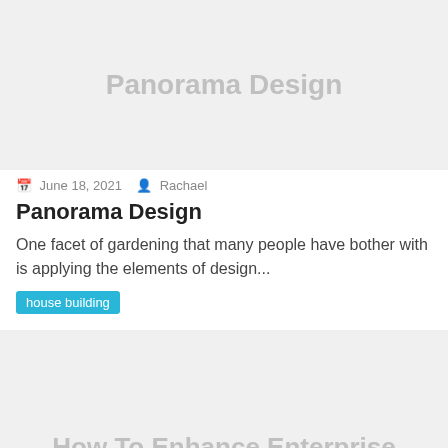[Figure (other): Gray placeholder image with text 'Panorama Design' centered]
June 18, 2021  Rachael
Panorama Design
One facet of gardening that many people have bother with is applying the elements of design...
house building
[Figure (other): Gray placeholder image with text 'How To Enhance Enterprise' at bottom]